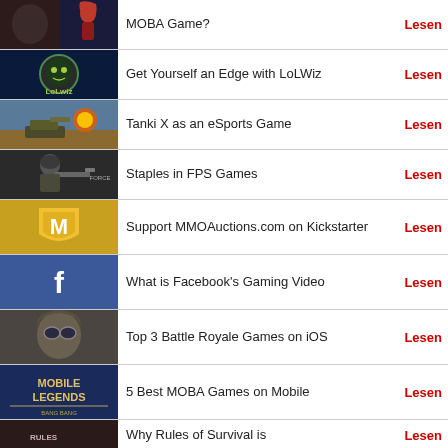MOBA Game?
Get Yourself an Edge with LoLWiz
Tanki X as an eSports Game
Staples in FPS Games
Support MMOAuctions.com on Kickstarter
What is Facebook's Gaming Video
Top 3 Battle Royale Games on iOS
5 Best MOBA Games on Mobile
Why Rules of Survival is